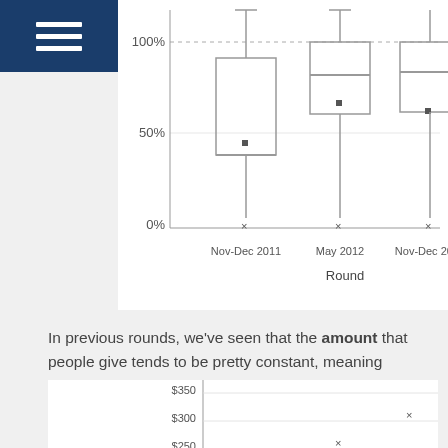[Figure (other): Navigation hamburger menu icon, white bars on dark blue background]
[Figure (other): Box plots showing distribution across four rounds: Nov-Dec 2011, May 2012, Nov-Dec 2012, Feb-March 2014. Y-axis from 0% to 100%. X-axis label: Round.]
In previous rounds, we've seen that the amount that people give tends to be pretty constant, meaning success is all about the number of donors you have. This trend continues, as we see the average donation is about the same as round 3, or even a little lower:
[Figure (continuous-plot): Scatter/box plot partially visible, y-axis shows $350, $300, $250, $200 range. X-axis cut off at bottom.]